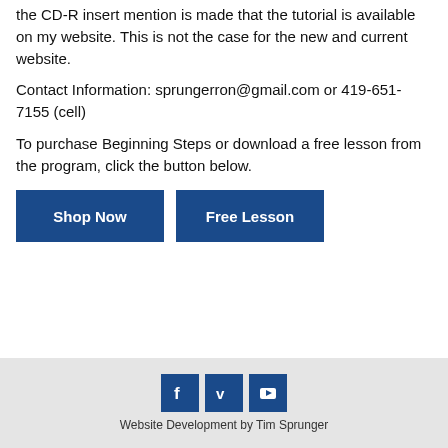the CD-R insert mention is made that the tutorial is available on my website. This is not the case for the new and current website.
Contact Information: sprungerron@gmail.com or 419-651-7155 (cell)
To purchase Beginning Steps or download a free lesson from the program, click the button below.
[Figure (other): Two blue buttons labeled 'Shop Now' and 'Free Lesson']
Website Development by Tim Sprunger